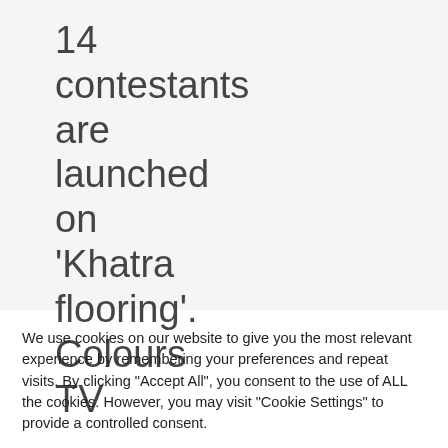14 contestants are launched on ‘Khatra flooring’. Colours TV
We use cookies on our website to give you the most relevant experience by remembering your preferences and repeat visits. By clicking "Accept All", you consent to the use of ALL the cookies. However, you may visit "Cookie Settings" to provide a controlled consent.